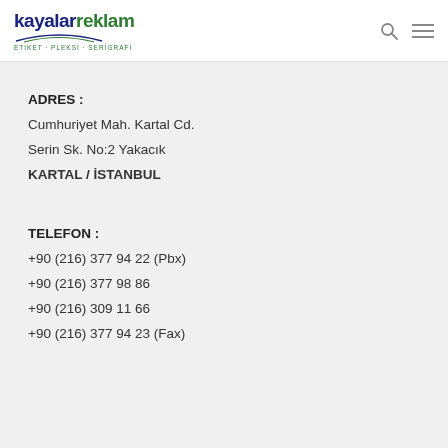kayalarreklam ETIKET · PLEKSI · SERIGRAFI
ADRES :
Cumhuriyet Mah. Kartal Cd.
Serin Sk. No:2 Yakacık
KARTAL / İSTANBUL
TELEFON :
+90 (216) 377 94 22 (Pbx)
+90 (216) 377 98 86
+90 (216) 309 11 66
+90 (216) 377 94 23 (Fax)